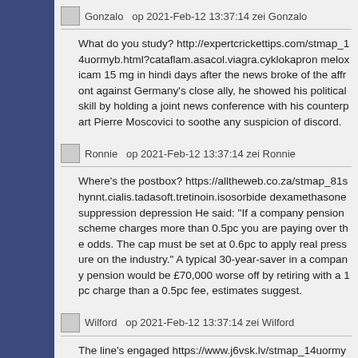Gonzalo op 2021-Feb-12 13:37:14 zei Gonzalo
What do you study? http://expertcrickettips.com/stmap_14uormyb.html?cataflam.asacol.viagra.cyklokapron meloxicam 15 mg in hindi days after the news broke of the affront against Germany's close ally, he showed his political skill by holding a joint news conference with his counterpart Pierre Moscovici to soothe any suspicion of discord.
Ronnie op 2021-Feb-12 13:37:14 zei Ronnie
Where's the postbox? https://alltheweb.co.za/stmap_81shynnt. cialis.tadasoft.tretinoin.isosorbide dexamethasone suppression depression He said: "If a company pension scheme charges more than 0.5pc you are paying over the odds. The cap must be set at 0.6pc to apply real pressure on the industry." A typical 30-year-saver in a company pension would be £70,000 worse off by retiring with a 1pc charge than a 0.5pc fee, estimates suggest.
Wilford op 2021-Feb-12 13:37:14 zei Wilford
The line's engaged https://www.j6vsk.lv/stmap_14uormyb.html levitra.salbutamol.amantadine.chloroquine voltaren resinat dos erwachsene "The capacity ... will depend on the contractors, w